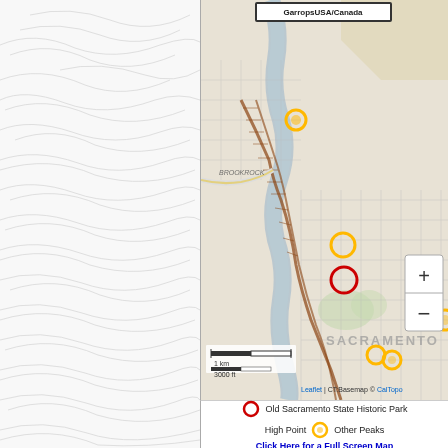[Figure (map): Topographic map showing Sacramento area with marked locations including Old Sacramento State Historic Park (red circle), High Point (yellow circle), and Other Peaks (yellow circles). Map uses CalTopo basemap with Leaflet. Shows street grid of Sacramento, rail lines, and the Sacramento River area. Left portion shows topographic contour lines on white background.]
GarropsUSA/Canada
Leaflet | CT:Basemap © CalTopo
1 km
3000 ft
Old Sacramento State Historic Park
High Point    Other Peaks
Click Here for a Full Screen Map